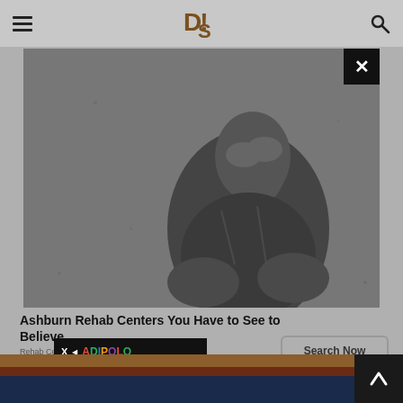DS (logo) — navigation header with hamburger menu and search icon
[Figure (photo): Black and white photo of a person sitting with knees drawn up, hands covering face, appearing distressed]
Ashburn Rehab Centers You Have to See to Believe
Rehab Centers
[Figure (other): X ADIPOLO advertisement banner in black with colorful dot letters]
Search Now button
Footer stripe with brown, dark red, and dark blue horizontal bands with back-to-top arrow button